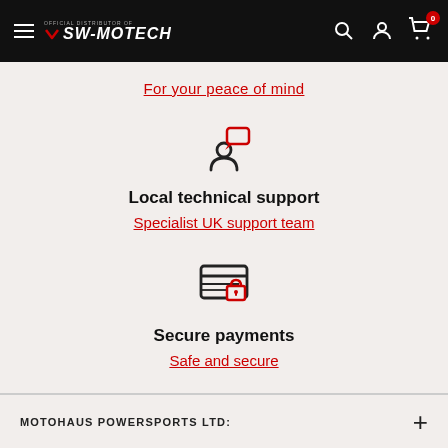SW-Motech official distributor header navigation
For your peace of mind
[Figure (illustration): Person with speech bubble icon — local technical support]
Local technical support
Specialist UK support team
[Figure (illustration): Credit card with lock icon — secure payments]
Secure payments
Safe and secure
MOTOHAUS POWERSPORTS LTD: